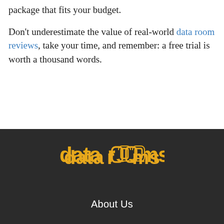package that fits your budget.
Don't underestimate the value of real-world data room reviews, take your time, and remember: a free trial is worth a thousand words.
[Figure (logo): datarooms logo in yellow/gold text on dark background]
About Us